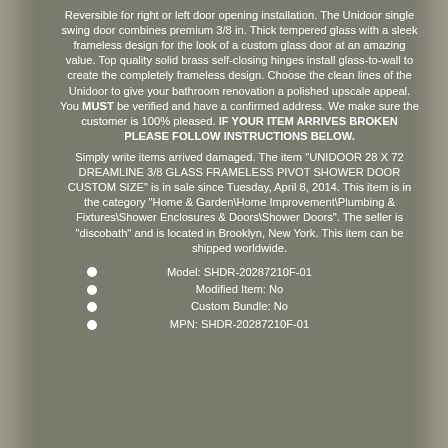Reversible for right or left door opening installation. The Unidoor single swing door combines premium 3/8 in. Thick tempered glass with a sleek frameless design for the look of a custom glass door at an amazing value. Top quality solid brass self-closing hinges install glass-to-wall to create the completely frameless design. Choose the clean lines of the Unidoor to give your bathroom renovation a polished upscale appeal. You MUST be verified and have a confirmed address. We make sure the customer is 100% pleased. IF YOUR ITEM ARRIVES BROKEN PLEASE FOLLOW INSTRUCTIONS BELOW.
Simply write items arrived damaged. The item "UNIDOOR 28 X 72 DREAMLINE 3/8 GLASS FRAMELESS PIVOT SHOWER DOOR CUSTOM SIZE" is in sale since Tuesday, April 8, 2014. This item is in the category "Home & Garden\Home Improvement\Plumbing & Fixtures\Shower Enclosures & Doors\Shower Doors". The seller is "discobath" and is located in Brooklyn, New York. This item can be shipped worldwide.
Model: SHDR-20287210F-01
Modified Item: No
Custom Bundle: No
MPN: SHDR-20287210F-01